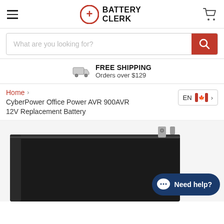[Figure (logo): Battery Clerk logo with red circle and plus sign, followed by BATTERY CLERK text in bold black]
What are you looking for?
FREE SHIPPING
Orders over $129
Home > CyberPower Office Power AVR 900AVR 12V Replacement Battery
EN
[Figure (photo): Black rectangular sealed lead-acid battery product photo, partially visible, with metal terminals visible at the top right]